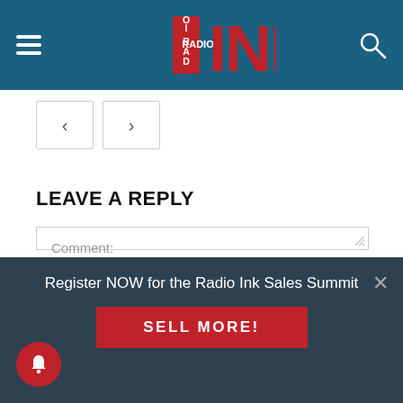[Figure (logo): Radio Ink logo on teal/dark blue header bar with hamburger menu icon on left and search icon on right]
[Figure (other): Navigation previous and next arrow buttons]
LEAVE A REPLY
[Figure (other): Comment text area input box with placeholder text 'Comment:']
Register NOW for the Radio Ink Sales Summit
SELL MORE!